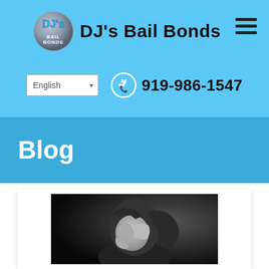DJ's Bail Bonds
English | 919-986-1547
Blog
[Figure (photo): Black and white photo of a distressed woman with her hands covering her face, hair falling forward]